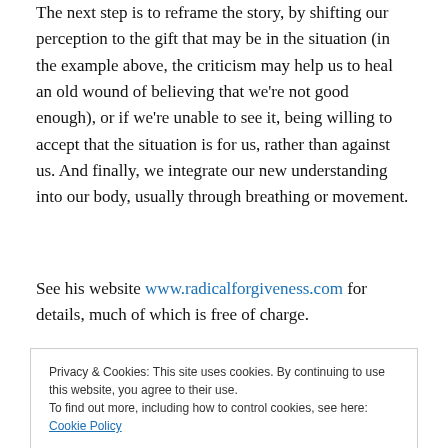The next step is to reframe the story, by shifting our perception to the gift that may be in the situation (in the example above, the criticism may help us to heal an old wound of believing that we're not good enough), or if we're unable to see it, being willing to accept that the situation is for us, rather than against us. And finally, we integrate our new understanding into our body, usually through breathing or movement.
See his website www.radicalforgiveness.com for details, much of which is free of charge.
Privacy & Cookies: This site uses cookies. By continuing to use this website, you agree to their use. To find out more, including how to control cookies, see here: Cookie Policy